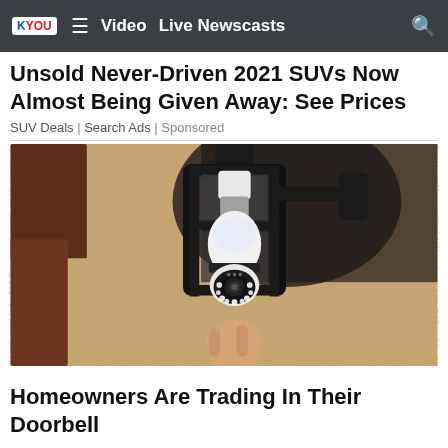KYOU ≡ Video  Live Newscasts 🔍
Unsold Never-Driven 2021 SUVs Now Almost Being Given Away: See Prices
SUV Deals | Search Ads | Sponsored
[Figure (photo): A person holding a light-bulb shaped security camera being installed into an outdoor black lantern wall fixture mounted on a stucco wall]
Homeowners Are Trading In Their Doorbell